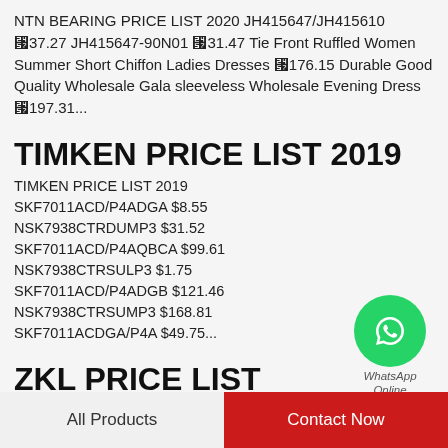NTN BEARING PRICE LIST 2020 JH415647/JH415610 ￥37.27 JH415647-90N01 ￥31.47 Tie Front Ruffled Women Summer Short Chiffon Ladies Dresses ￥176.15 Durable Good Quality Wholesale Gala sleeveless Wholesale Evening Dress ￥197.31...
TIMKEN PRICE LIST 2019
TIMKEN PRICE LIST 2019 SKF7011ACD/P4ADGA $8.55 NSK7938CTRDUMP3 $31.52 SKF7011ACD/P4AQBCA $99.61 NSK7938CTRSULP3 $1.75 SKF7011ACD/P4ADGB $121.46 NSK7938CTRSUMP3 $168.81 SKF7011ACDGA/P4A $49.75...
[Figure (logo): WhatsApp green circle logo with phone icon, labeled WhatsApp Online below]
ZKL PRICE LIST
All Products | Contact Now